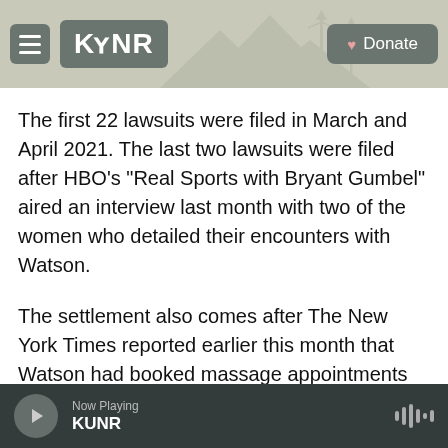[Figure (logo): KUNR public radio website header with hamburger menu, KUNR logo on grey background with mountain/tower silhouette, and a Donate button]
The first 22 lawsuits were filed in March and April 2021. The last two lawsuits were filed after HBO's "Real Sports with Bryant Gumbel" aired an interview last month with two of the women who detailed their encounters with Watson.
The settlement also comes after The New York Times reported earlier this month that Watson had booked massage appointments with at least 66 different women over 17 months while he played for the Texans. The report also said that a Texans representative had provided Watson with a
Now Playing KUNR